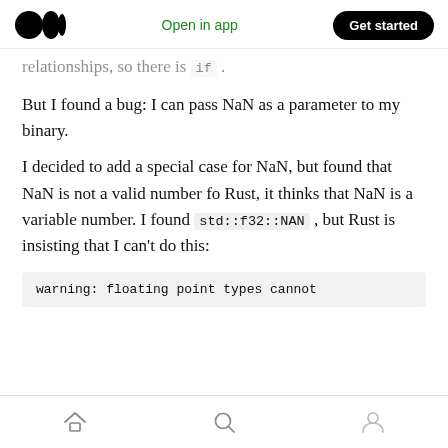Medium logo | Open in app | Get started
…relationships, so there is if .
But I found a bug: I can pass NaN as a parameter to my binary.
I decided to add a special case for NaN, but found that NaN is not a valid number fo Rust, it thinks that NaN is a variable number. I found std::f32::NAN , but Rust is insisting that I can't do this:
warning: floating point types cannot
Home | Search | Profile